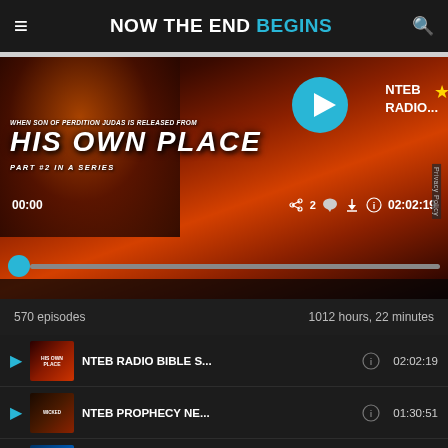NOW THE END BEGINS
[Figure (screenshot): NTEB Radio Bible Study media player showing episode 'His Own Place Part #2 in a Series' with text 'WHEN SON OF PERDITION JUDAS IS RELEASED FROM HIS OWN PLACE PART #2 IN A SERIES', play button, duration 02:02:19, progress bar, and NTEB RADIO label]
570 episodes    1012 hours, 22 minutes
NTEB RADIO BIBLE S...    02:02:19
NTEB PROPHECY NE...    01:30:51
NTEB RADIO BIBLE S...    01:59:56
This div...